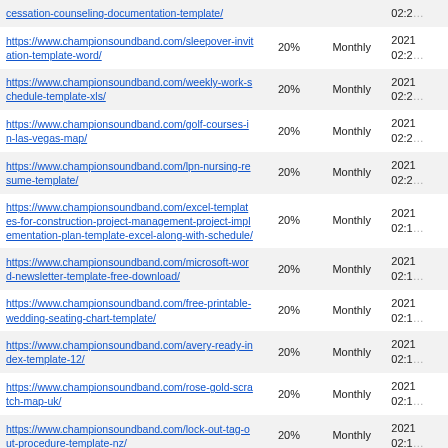| URL | Priority | Change Frequency | Last Modified |
| --- | --- | --- | --- |
| https://www.championsoundband.com/cessation-counseling-documentation-template/ |  |  | 02:2... |
| https://www.championsoundband.com/sleepover-invitation-template-word/ | 20% | Monthly | 2021 02:2... |
| https://www.championsoundband.com/weekly-work-schedule-template-xls/ | 20% | Monthly | 2021 02:2... |
| https://www.championsoundband.com/golf-courses-in-las-vegas-map/ | 20% | Monthly | 2021 02:2... |
| https://www.championsoundband.com/lpn-nursing-resume-template/ | 20% | Monthly | 2021 02:2... |
| https://www.championsoundband.com/excel-templates-for-construction-project-management-project-implementation-plan-template-excel-along-with-schedule/ | 20% | Monthly | 2021 02:1... |
| https://www.championsoundband.com/microsoft-word-newsletter-template-free-download/ | 20% | Monthly | 2021 02:1... |
| https://www.championsoundband.com/free-printable-wedding-seating-chart-template/ | 20% | Monthly | 2021 02:1... |
| https://www.championsoundband.com/avery-ready-index-template-12/ | 20% | Monthly | 2021 02:1... |
| https://www.championsoundband.com/rose-gold-scratch-map-uk/ | 20% | Monthly | 2021 02:1... |
| https://www.championsoundband.com/lock-out-tag-out-procedure-template-nz/ | 20% | Monthly | 2021 02:1... |
| https://www.championsoundband.com/resume-maker-professional-deluxe-17-crack/ | 20% | Monthly | 2021 02:1... |
| https://www.championsoundband.com/map-of-hotels-... | 20% | Monthly | 2021... |